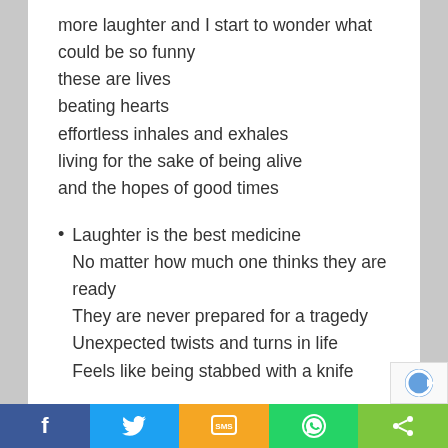more laughter and I start to wonder what could be so funny
these are lives
beating hearts
effortless inhales and exhales
living for the sake of being alive
and the hopes of good times
Laughter is the best medicine
No matter how much one thinks they are ready
They are never prepared for a tragedy
Unexpected twists and turns in life
Feels like being stabbed with a knife
f  [twitter]  SMS  [whatsapp]  [share]